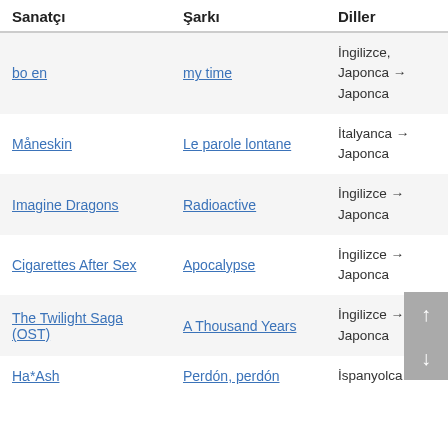| Sanatçı | Şarkı | Diller |
| --- | --- | --- |
| bo en | my time | İngilizce, Japonca → Japonca |
| Måneskin | Le parole lontane | İtalyanca → Japonca |
| Imagine Dragons | Radioactive | İngilizce → Japonca |
| Cigarettes After Sex | Apocalypse | İngilizce → Japonca |
| The Twilight Saga (OST) | A Thousand Years | İngilizce → Japonca |
| Ha*Ash | Perdón, perdón | İspanyolca → |